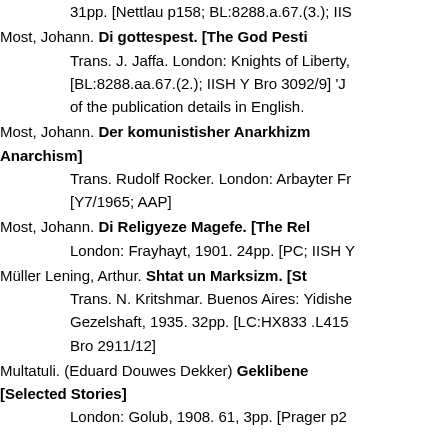31pp. [Nettlau p158; BL:8288.a.67.(3.); IIS...
Most, Johann. Di gottespest. [The God Pesti... Trans. J. Jaffa. London: Knights of Liberty, [BL:8288.aa.67.(2.); IISH Y Bro 3092/9] 'J... of the publication details in English.
Most, Johann. Der komunistisher Anarkhizm... [Communist Anarchism] Trans. Rudolf Rocker. London: Arbayter Fr... [Y7/1965; AAP]
Most, Johann. Di Religyeze Magefe. [The Rel... London: Frayhayt, 1901. 24pp. [PC; IISH Y...
Müller Lening, Arthur. Shtat un Marksizm. [St... Trans. N. Kritshmar. Buenos Aires: Yidishe... Gezelshaft, 1935. 32pp. [LC:HX833 .L415... Bro 2911/12]
Multatuli. (Eduard Douwes Dekker) Geklibene... [Selected Stories] London: Golub, 1908. 61, 3pp. [Prager p2...